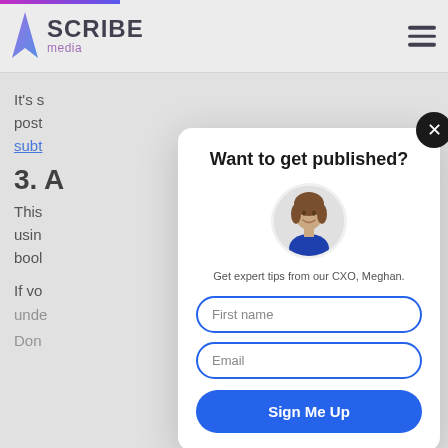[Figure (logo): Scribe Media logo with purple flame/feather icon and text 'SCRIBE media']
It's s
post
subt
3. A
This
using
bool
If vo
unde
Don
Want to get published?
[Figure (photo): Circular headshot photo of Meghan, CXO]
Get expert tips from our CXO, Meghan.
First name
Email
Sign Me Up